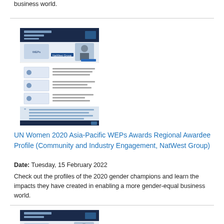business world.
[Figure (screenshot): Thumbnail of UN Women 2020 Asia-Pacific WEPs Awards Regional Awardee Profile document for NatWest Group]
UN Women 2020 Asia-Pacific WEPs Awards Regional Awardee Profile (Community and Industry Engagement, NatWest Group)
Date: Tuesday, 15 February 2022
Check out the profiles of the 2020 gender champions and learn the impacts they have created in enabling a more gender-equal business world.
[Figure (screenshot): Thumbnail of second UN Women 2020 Asia-Pacific WEPs Awards Regional Awardee Profile document]